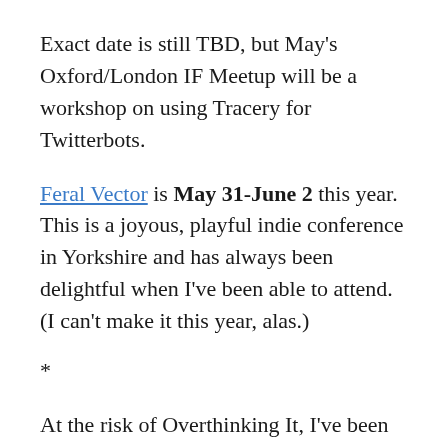Exact date is still TBD, but May's Oxford/London IF Meetup will be a workshop on using Tracery for Twitterbots.
Feral Vector is May 31-June 2 this year. This is a joyous, playful indie conference in Yorkshire and has always been delightful when I've been able to attend. (I can't make it this year, alas.)
*
At the risk of Overthinking It, I've been loosely theming blog content on different topics each month, and also trying to align content with what the Oxford/London IF